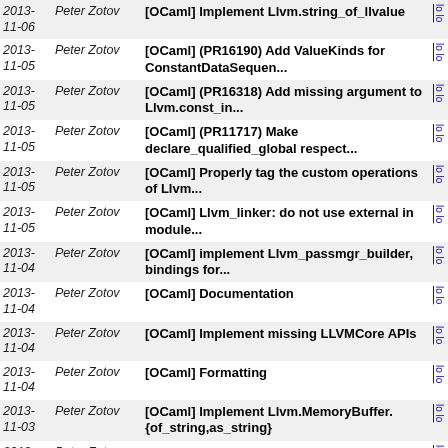| Date | Author | Commit |  |
| --- | --- | --- | --- |
| 2013-11-06 | Peter Zotov | [OCaml] Implement Llvm.string_of_llvalue |  |
| 2013-11-05 | Peter Zotov | [OCaml] (PR16190) Add ValueKinds for ConstantDataSequen... |  |
| 2013-11-05 | Peter Zotov | [OCaml] (PR16318) Add missing argument to Llvm.const_in... |  |
| 2013-11-05 | Peter Zotov | [OCaml] (PR11717) Make declare_qualified_global respect... |  |
| 2013-11-05 | Peter Zotov | [OCaml] Properly tag the custom operations of Llvm... |  |
| 2013-11-05 | Peter Zotov | [OCaml] Llvm_linker: do not use external in module... |  |
| 2013-11-04 | Peter Zotov | [OCaml] implement Llvm_passmgr_builder, bindings for... |  |
| 2013-11-04 | Peter Zotov | [OCaml] Documentation |  |
| 2013-11-04 | Peter Zotov | [OCaml] Implement missing LLVMCore APIs |  |
| 2013-11-04 | Peter Zotov | [OCaml] Formatting |  |
| 2013-11-03 | Peter Zotov | [OCaml] Implement Llvm.MemoryBuffer.{of_string,as_string} |  |
| 2013-11-03 | Peter Zotov | [OCaml] Fix ABI incompatibility |  |
| 2013-11-03 | Peter Zotov | [OCaml] Implement Llvm_linker, bindings for the IR... |  |
| 2013-11- | Peter Zotov | [OCaml] Implement Llvm_vectorize bindings |  |